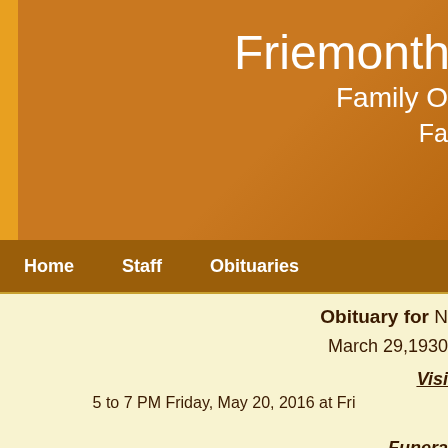Friemont Family Owned Funeral Home
Home  Staff  Obituaries
Obituary for N
March 29, 1930
Visitation
5 to 7 PM Friday, May 20, 2016 at Fri
Funeral
10 AM Saturday, May 21, 2016